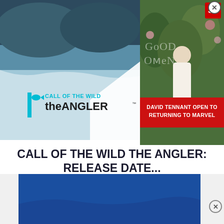[Figure (screenshot): Left panel: Call of the Wild The Angler promotional image showing a nature/lake scene with mountain backdrop and the game logo. Right panel: Entertainment news thumbnail showing actor in white outfit with text 'DAVID TENNANT OPEN TO RETURNING TO MARVEL' overlaid on red banner. Good Omens logo visible in background.]
CALL OF THE WILD THE ANGLER: RELEASE DATE...
August 19, 2022
[Figure (screenshot): Carousel dot navigation: 10 dots, first dot filled red (active), remaining 9 are empty circles]
[Figure (screenshot): Bottom advertisement banner: blue background with white text 'Thousands of teens']